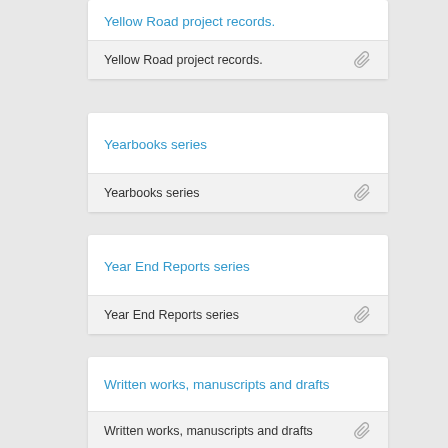Yellow Road project records.
Yearbooks series
Year End Reports series
Written works, manuscripts and drafts